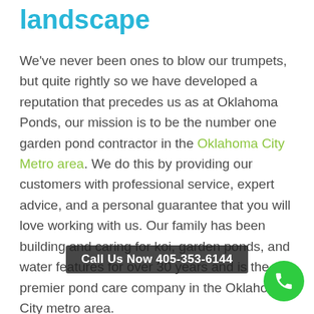landscape
We've never been ones to blow our trumpets, but quite rightly so we have developed a reputation that precedes us as at Oklahoma Ponds, our mission is to be the number one garden pond contractor in the Oklahoma City Metro area. We do this by providing our customers with professional service, expert advice, and a personal guarantee that you will love working with us. Our family has been building and caring for koi, garden ponds, and water features for over 30 years and is the premier pond care company in the Oklahoma City metro area.
Your pond landscaping project is in safe hands with us and we'll handle it just like we've handled
Call Us Now 405-353-6144